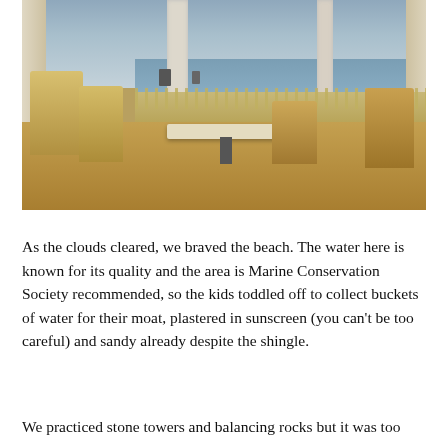[Figure (photo): Interior of a seaside cafe or restaurant with wooden chairs and tables, large windows overlooking a beach and sea, with a cloudy sky visible outside.]
As the clouds cleared, we braved the beach. The water here is known for its quality and the area is Marine Conservation Society recommended, so the kids toddled off to collect buckets of water for their moat, plastered in sunscreen (you can't be too careful) and sandy already despite the shingle.
We practiced stone towers and balancing rocks but it was too